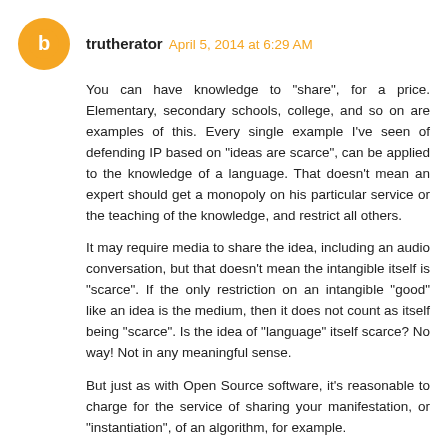trutherator April 5, 2014 at 6:29 AM
You can have knowledge to "share", for a price. Elementary, secondary schools, college, and so on are examples of this. Every single example I've seen of defending IP based on "ideas are scarce", can be applied to the knowledge of a language. That doesn't mean an expert should get a monopoly on his particular service or the teaching of the knowledge, and restrict all others.
It may require media to share the idea, including an audio conversation, but that doesn't mean the intangible itself is "scarce". If the only restriction on an intangible "good" like an idea is the medium, then it does not count as itself being "scarce". Is the idea of "language" itself scarce? No way! Not in any meaningful sense.
But just as with Open Source software, it's reasonable to charge for the service of sharing your manifestation, or "instantiation", of an algorithm, for example.
Reply